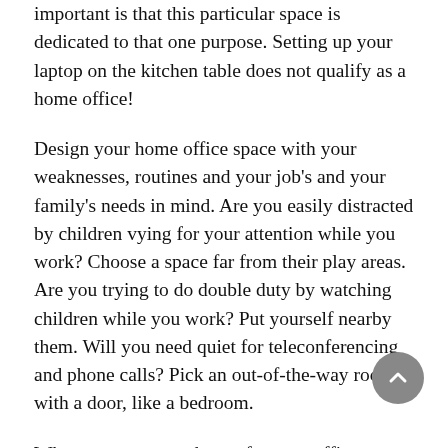important is that this particular space is dedicated to that one purpose. Setting up your laptop on the kitchen table does not qualify as a home office!
Design your home office space with your weaknesses, routines and your job's and your family's needs in mind. Are you easily distracted by children vying for your attention while you work? Choose a space far from their play areas. Are you trying to do double duty by watching children while you work? Put yourself nearby them. Will you need quiet for teleconferencing and phone calls? Pick an out-of-the-way room with a door, like a bedroom.
Whatever area you choose for your office, you need, at a minimum, a desk, chair, computer, and some shelving or other storage space. Take time to make it an inviting space, decorating it with pictures or mementos in the way that you might a cubicle in the office. You should enjoy being in this space.
Don't let others use the space when you are not, and don't use it yourself for activities outside of your professional work. Don't pay your bills there, or fill out